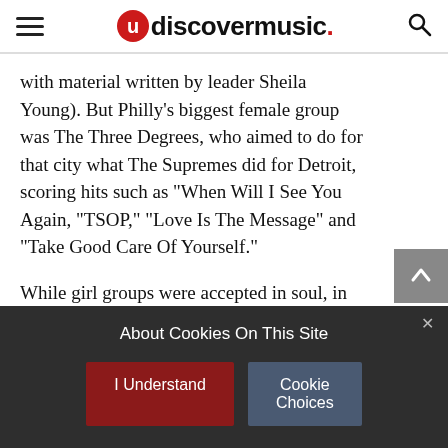udiscovermusic.
with material written by leader Sheila Young). But Philly’s biggest female group was The Three Degrees, who aimed to do for that city what The Supremes did for Detroit, scoring hits such as “When Will I See You Again, “TSOP,” “Love Is The Message” and “Take Good Care Of Yourself.”
While girl groups were accepted in soul, in rock’n’roll they faced a rough road. The Pleasure Seekers, featuring Suzi Quatro, played tough garage rock in the mid-60s, became Cradle later in the
About Cookies On This Site
I Understand
Cookie Choices